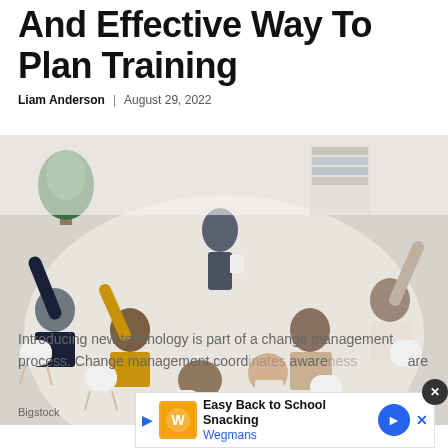And Effective Way To Plan Training
Liam Anderson | August 29, 2022
[Figure (photo): Overhead view of a training session with people seated in a circle raising their hands, a facilitator standing in the middle holding papers, in a bright office setting]
Bigstock
Introducing new technology is part of a change management process. Change management coord[inates] aware[ness] ...are